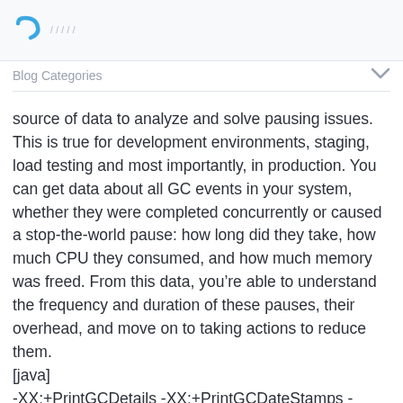Blog Categories
Blog Categories
source of data to analyze and solve pausing issues. This is true for development environments, staging, load testing and most importantly, in production. You can get data about all GC events in your system, whether they were completed concurrently or caused a stop-the-world pause: how long did they take, how much CPU they consumed, and how much memory was freed. From this data, you’re able to understand the frequency and duration of these pauses, their overhead, and move on to taking actions to reduce them.
[java]
-XX:+PrintGCDetails -XX:+PrintGCDateStamps -